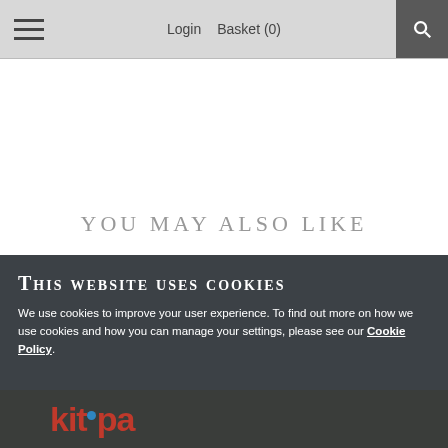≡  Login  Basket (0)  🔍
You may also like
This website uses cookies
We use cookies to improve your user experience. To find out more on how we use cookies and how you can manage your settings, please see our Cookie Policy.
Continue Shopping
[Figure (photo): Partial product image showing 'kitpa' brand logo text in red on dark background]